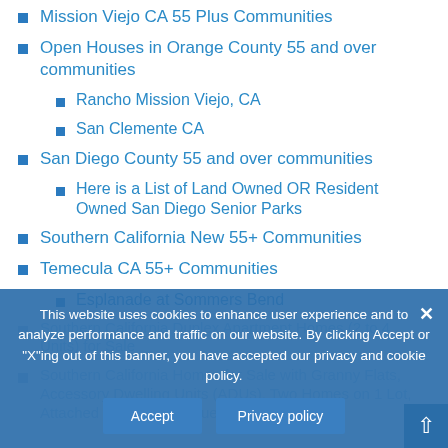Mission Viejo CA 55 Plus Communities
Open Houses in Orange County 55 and over communities
Rancho Mission Viejo, CA
San Clemente CA
San Diego County 55 and over communities
Here is a List of Land Owned OR Resident Owned San Diego Senior Parks
Southern California New 55+ Communities
Temecula CA 55+ Communities
Esplanade at Sommers Bend
Southern California Duplex Apartment Homes (2 to 4 Units) for Sale
Southern California Homes for Sale with Granny Flats, Accessory Dwelling Units (ADUs), Two Homes on 1 Lot, Attached or Detached Guest House
This website uses cookies to enhance user experience and to analyze performance and traffic on our website. By clicking Accept or "X"ing out of this banner, you have accepted our privacy and cookie policy.